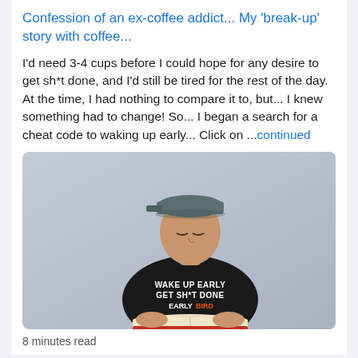Confession of an ex-coffee addict... My 'break-up' story with coffee...
I'd need 3-4 cups before I could hope for any desire to get sh*t done, and I'd still be tired for the rest of the day. At the time, I had nothing to compare it to, but... I knew something had to change! So... I began a search for a cheat code to waking up early... Click on ...continued
[Figure (photo): Young man wearing a black t-shirt reading 'WAKE UP EARLY GET SH*T DONE EARLYBIRD' and holding an open book, standing against a light grey/blue wall, wearing a cap.]
8 minutes read